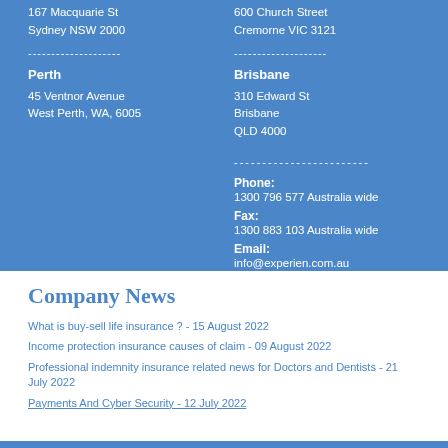167 Macquarie St
Sydney NSW 2000
600 Church Street
Cremorne VIC 3121
--------------------
--------------------
Perth
Brisbane
45 Ventnor Avenue
West Perth, WA, 6005
310 Edward St
Brisbane
QLD 4000
------------------------
Phone:
1300 796 577 Australia wide
Fax:
1300 883 103 Australia wide
Email:
info@experien.com.au
Company News
What is buy-sell life insurance ? - 15 August 2022
Income protection insurance causes of claim - 09 August 2022
Professional indemnity insurance related news for Doctors and Dentists - 21 July 2022
Payments And Cyber Security - 12 July 2022